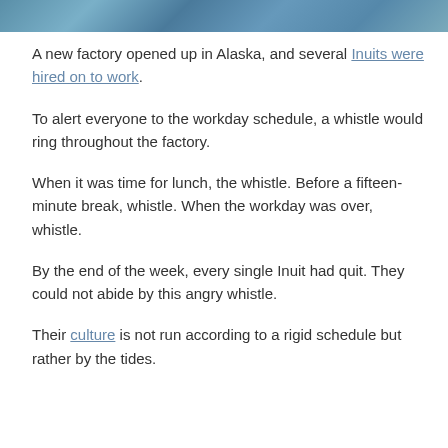[Figure (photo): Blue wavy water/ocean header image at top of page]
A new factory opened up in Alaska, and several Inuits were hired on to work.
To alert everyone to the workday schedule, a whistle would ring throughout the factory.
When it was time for lunch, the whistle. Before a fifteen-minute break, whistle. When the workday was over, whistle.
By the end of the week, every single Inuit had quit. They could not abide by this angry whistle.
Their culture is not run according to a rigid schedule but rather by the tides.